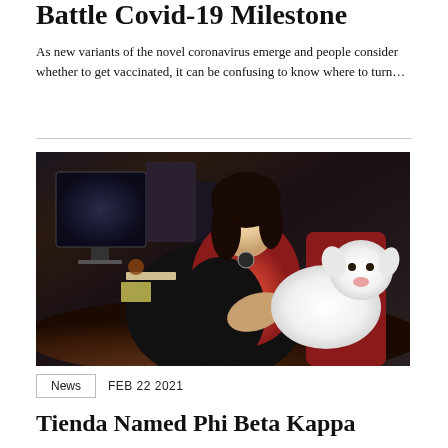Battle Covid-19 Milestone
As new variants of the novel coronavirus emerge and people consider whether to get vaccinated, it can be confusing to know where to turn…
[Figure (photo): A woman with dark hair wearing a black and red outfit sits at a desk holding a small white fluffy dog. A computer monitor is visible in the background.]
News   FEB 22 2021
Tienda Named Phi Beta Kappa